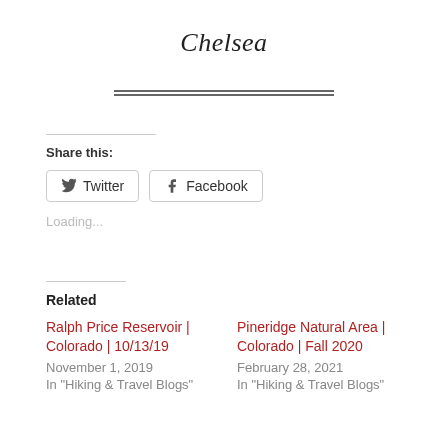Chelsea
Share this:
Twitter  Facebook
Loading...
Related
Ralph Price Reservoir | Colorado | 10/13/19
November 1, 2019
In "Hiking & Travel Blogs"
Pineridge Natural Area | Colorado | Fall 2020
February 28, 2021
In "Hiking & Travel Blogs"